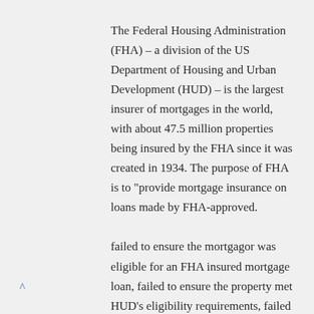The Federal Housing Administration (FHA) – a division of the US Department of Housing and Urban Development (HUD) – is the largest insurer of mortgages in the world, with about 47.5 million properties being insured by the FHA since it was created in 1934. The purpose of FHA is to "provide mortgage insurance on loans made by FHA-approved.
failed to ensure the mortgagor was eligible for an FHA insured mortgage loan, failed to ensure the property met HUD's eligibility requirements, failed to comply with TOTAL Scorecard requirements,
^ Fha Credit Requirements A credit score for